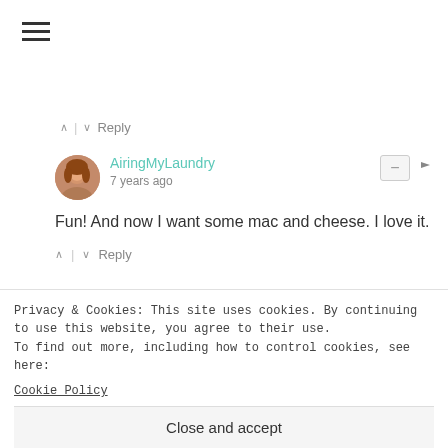[Figure (other): Hamburger menu icon (three horizontal lines)]
↑ | ↓ Reply
[Figure (photo): User avatar photo of AiringMyLaundry]
AiringMyLaundry
7 years ago
Fun! And now I want some mac and cheese. I love it.
↑ | ↓ Reply
[Figure (photo): User avatar photo of julie @ jewelswandering]
julie @ jewelswandering ...
7 years ago
You and me both!!! Yumms
↑ | ↓ Reply
Privacy & Cookies: This site uses cookies. By continuing to use this website, you agree to their use.
To find out more, including how to control cookies, see here:
Cookie Policy
Close and accept
XO, Claire